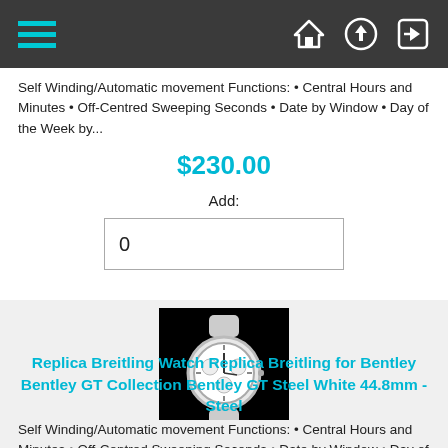[Navigation bar with hamburger menu and icons]
Self Winding/Automatic movement Functions: • Central Hours and Minutes • Off-Centred Sweeping Seconds • Date by Window • Day of the Week by...
$230.00
Add:
0
[Figure (photo): White Breitling watch with chronograph face on black background]
Replica Breitling Watch Replica Breitling for Bentley Bentley GT Collection Bentley GT Steel White 44.8mm - Steel
Self Winding/Automatic movement Functions: • Central Hours and Minutes • Off-Centred Sweeping Seconds • Date by Window • Day of the Week by...